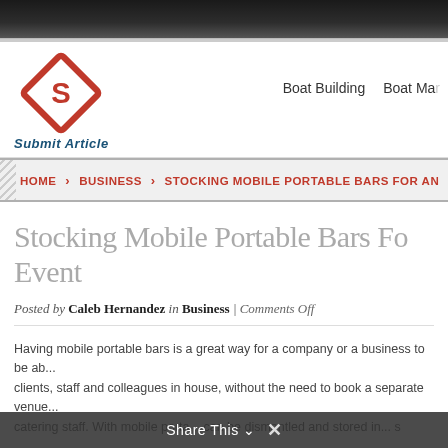[Figure (logo): Submit Article logo — red diamond shape with stylized S letter inside, and 'Submit Article' text in blue italic below]
Boat Building   Boat Ma...
HOME > BUSINESS > STOCKING MOBILE PORTABLE BARS FOR AN...
Stocking Mobile Portable Bars Fo... Event
Posted by Caleb Hernandez in Business | Comments Off
Having mobile portable bars is a great way for a company or a business to be ab... clients, staff and colleagues in house, without the need to book a separate venue... catering staff. With mobile porta... can be dismantled and stored in... s